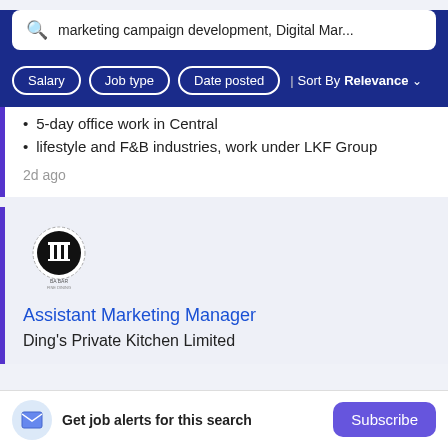marketing campaign development, Digital Mar...
Salary
Job type
Date posted
Sort By Relevance
5-day office work in Central
lifestyle and F&B industries, work under LKF Group
2d ago
[Figure (logo): Company logo: black circular badge with building/columns icon and text below]
Assistant Marketing Manager
Ding's Private Kitchen Limited
Get job alerts for this search
Subscribe